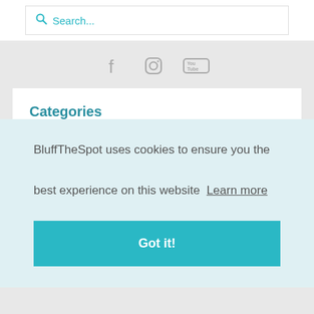Search...
[Figure (illustration): Social media icons: Facebook, Instagram, YouTube]
Categories
All Categories
BluffTheSpot uses cookies to ensure you the best experience on this website  Learn more
Got it!